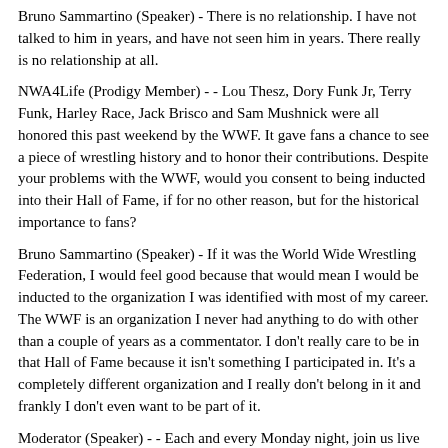Bruno Sammartino (Speaker) - There is no relationship.  I have not talked to him in years, and have not seen him in years.  There really is no relationship at all.
NWA4Life (Prodigy Member) - - Lou Thesz, Dory Funk Jr, Terry Funk, Harley Race, Jack Brisco and Sam Mushnick were all honored this past weekend by the WWF.  It gave fans a chance to see a piece of wrestling history and to honor their contributions.  Despite your problems with the WWF, would you consent to being inducted into their Hall of Fame, if for no other reason, but for the historical importance to fans?
Bruno Sammartino (Speaker) - If it was the World Wide Wrestling Federation, I would feel good because that would mean I would be inducted to the organization I was identified with most of my career.  The WWF is an organization I never had anything to do with other than a couple of years as a commentator.  I don't really care to be in that Hall of Fame because it isn't something I participated in. It's a completely different organization and I really don't belong in it and frankly I don't even want to be part of it.
Moderator (Speaker) - - Each and every Monday night, join us live in the shared NITRO/RAW chat room for a group discussion of the events of the evening.
BARONDOG1 (Prodigy Member) - - - What do you think of